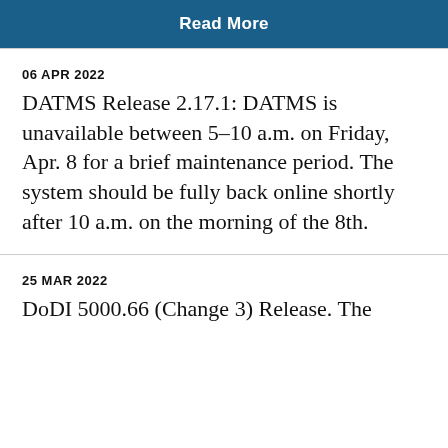Read More
06 APR 2022
DATMS Release 2.17.1: DATMS is unavailable between 5–10 a.m. on Friday, Apr. 8 for a brief maintenance period. The system should be fully back online shortly after 10 a.m. on the morning of the 8th.
25 MAR 2022
DoDI 5000.66 (Change 3) Release. The